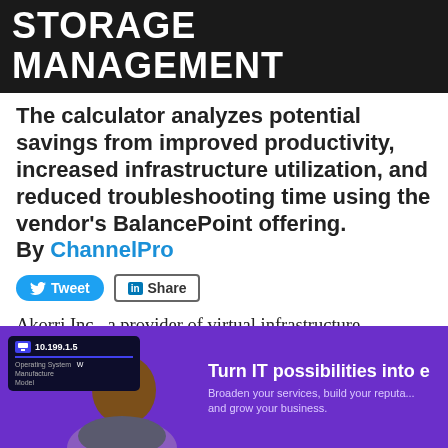STORAGE MANAGEMENT
The calculator analyzes potential savings from improved productivity, increased infrastructure utilization, and reduced troubleshooting time using the vendor's BalancePoint offering. By ChannelPro
[Figure (other): Tweet and Share social media buttons]
Akorri Inc., a provider of virtual infrastructure performance and capacity management for the data center, announced its new online ROI
[Figure (infographic): Advertisement banner with purple background showing a person and text: Turn IT possibilities into e... Broaden your services, build your reputa... and grow your business. Shows a screen with IP 10.199.1.5 and fields for Operating System, Manufacturer, Model]